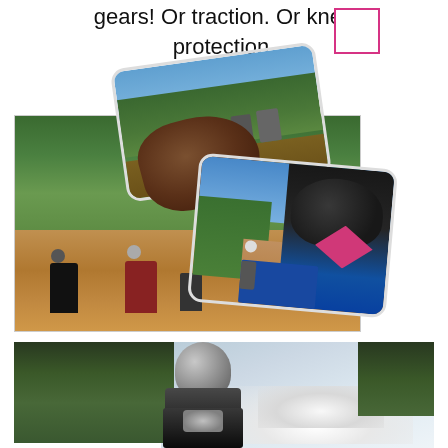gears! Or traction. Or knee protection.
[Figure (photo): Collage of three overlapping photos showing motorcycle riders on off-road dirt trails surrounded by lush green trees, with a central mud/rock element. A pink/magenta empty box outline appears in the upper right area of the collage.]
[Figure (photo): A motorcycle rider wearing a helmet, viewed from front/below angle, with green trees on left and cloudy sky on right background.]